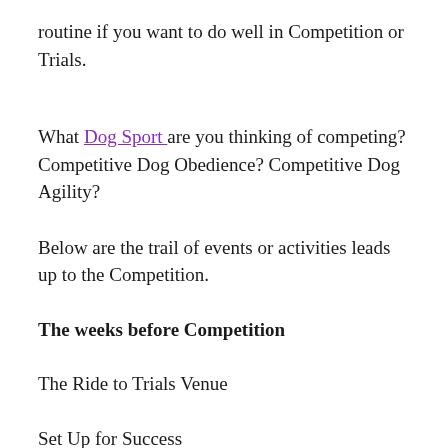routine if you want to do well in Competition or Trials.
What Dog Sport are you thinking of competing? Competitive Dog Obedience? Competitive Dog Agility?
Below are the trail of events or activities leads up to the Competition.
The weeks before Competition
The Ride to Trials Venue
Set Up for Success
The Warm Up